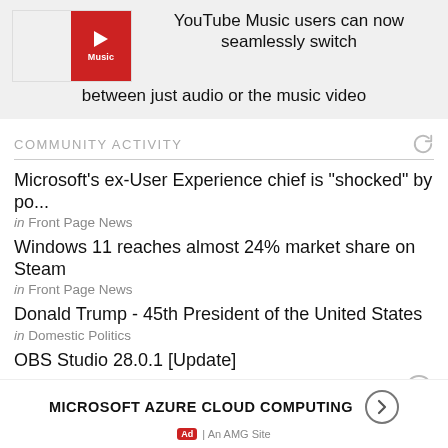[Figure (screenshot): YouTube Music logo thumbnail with red background and play button icon]
YouTube Music users can now seamlessly switch between just audio or the music video
COMMUNITY ACTIVITY
Microsoft's ex-User Experience chief is "shocked" by po...
in Front Page News
Windows 11 reaches almost 24% market share on Steam
in Front Page News
Donald Trump - 45th President of the United States
in Domestic Politics
OBS Studio 28.0.1 [Update]
in Front Page News
Google Chrome 105.0.5195.102 (offline installer)
MICROSOFT AZURE CLOUD COMPUTING